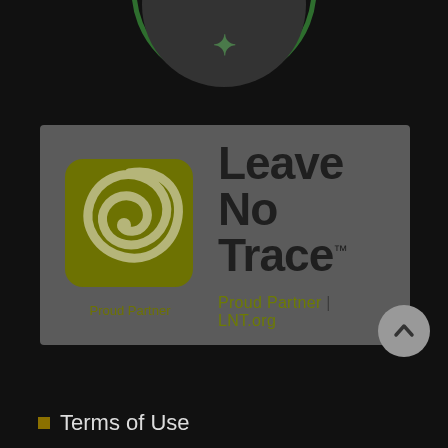[Figure (logo): Partial circular green-bordered logo at the top of the page, partially cropped]
[Figure (logo): Leave No Trace Proud Partner | LNT.org logo badge on dark grey background. Features olive/khaki colored spiral/swirl square icon on the left and bold dark text 'Leave No Trace™' on the right with 'Proud Partner | LNT.org' below.]
Terms of Use